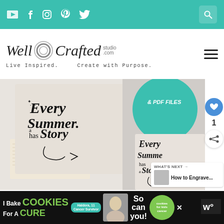Navigation bar with social icons (YouTube, Facebook, Instagram, Pinterest, Twitter) and search
[Figure (logo): Well Crafted Studio logo with tagline: Live Inspired. Create with Purpose.]
[Figure (photo): Craft project photo showing 'Every Summer has a Story' SVG designs on fabric bags and wood sign, teal circular sign visible with '& PDF FILES' text]
WHAT'S NEXT → How to Engrave...
[Figure (infographic): Advertisement: I Bake COOKIES For A CURE - Haldora, 11 Cancer Survivor - So can you! - cookies for kids cancer]